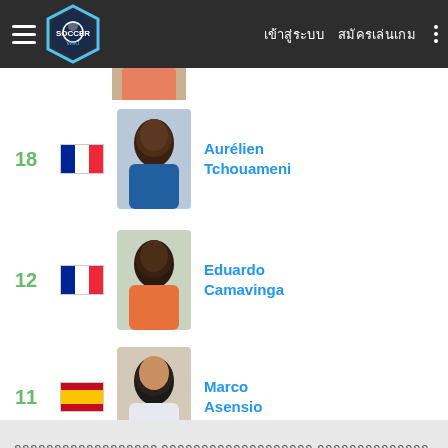Soccer Wiki - เข้าสู่ระบบ สมัครเล่นเกม
18 [France] Aurélien Tchouameni
12 [France] Eduardo Camavinga
11 [Spain] Marco Asensio
คุกกี้และการแจ้งเตือน (cookie consent text in Thai)
ยอมรับ (accept button)
ni oallos
nícius nior
en zard